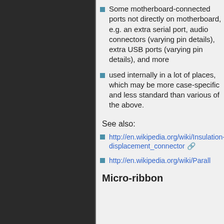[Figure (illustration): Dark gray background with repeating gear/cog wheel pattern arranged in a grid, gears have concentric ring details, dark charcoal color scheme]
Some motherboard-connected ports not directly on motherboard, e.g. an extra serial port, audio connectors (varying pin details), extra USB ports (varying pin details), and more
used internally in a lot of places, which may be more case-specific and less standard than various of the above.
See also:
http://en.wikipedia.org/wiki/Insulation-displacement_connector
http://en.wikipedia.org/wiki/Parall
Micro-ribbon